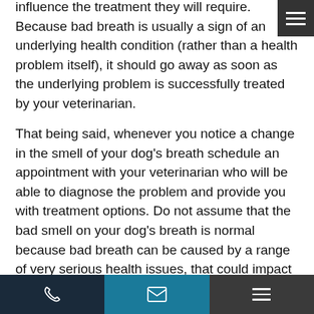influence the treatment they will require. Because bad breath is usually a sign of an underlying health condition (rather than a health problem itself), it should go away as soon as the underlying problem is successfully treated by your veterinarian.
That being said, whenever you notice a change in the smell of your dog's breath schedule an appointment with your veterinarian who will be able to diagnose the problem and provide you with treatment options. Do not assume that the bad smell on your dog's breath is normal because bad breath can be caused by a range of very serious health issues, that could impact the longevity and quality of your dog's life.
The treatments your vet provides you with could consist of prescription medications, specialized diets, therapies, and
phone | email | menu